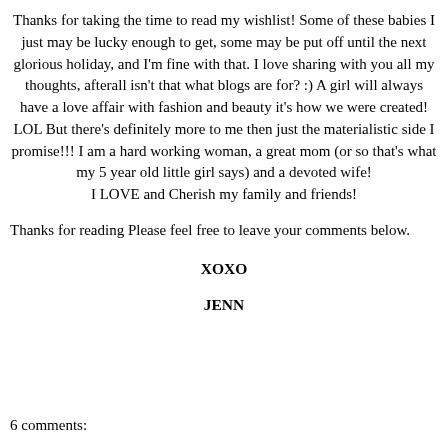Thanks for taking the time to read my wishlist! Some of these babies I just may be lucky enough to get, some may be put off until the next glorious holiday, and I'm fine with that. I love sharing with you all my thoughts, afterall isn't that what blogs are for? :) A girl will always have a love affair with fashion and beauty it's how we were created! LOL But there's definitely more to me then just the materialistic side I promise!!! I am a hard working woman, a great mom (or so that's what my 5 year old little girl says) and a devoted wife!
I LOVE and Cherish my family and friends!
Thanks for reading Please feel free to leave your comments below.
XOXO
JENN
6 comments: